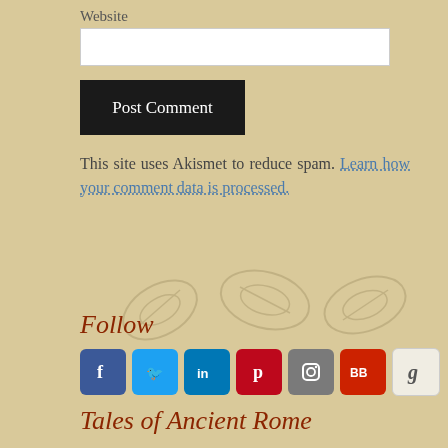Website
Post Comment
This site uses Akismet to reduce spam. Learn how your comment data is processed.
Follow
[Figure (infographic): Social media icon buttons: Facebook (blue), Twitter (light blue), LinkedIn (blue), Pinterest (red), Instagram (grey), BlogBooster/BB (dark red), Goodreads (light/cream)]
Tales of Ancient Rome